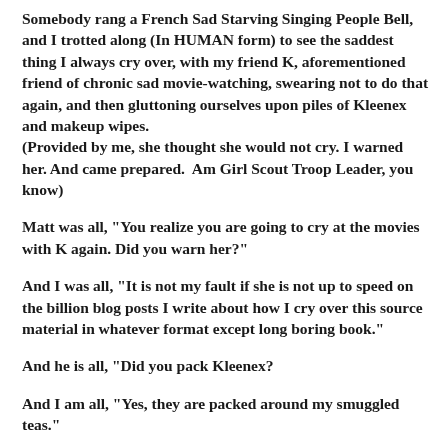Somebody rang a French Sad Starving Singing People Bell, and I trotted along (In HUMAN form) to see the saddest thing I always cry over, with my friend K, aforementioned friend of chronic sad movie-watching, swearing not to do that again, and then gluttoning ourselves upon piles of Kleenex and makeup wipes.
(Provided by me, she thought she would not cry. I warned her. And came prepared.  Am Girl Scout Troop Leader, you know)
Matt was all, "You realize you are going to cry at the movies with K again. Did you warn her?"
And I was all, "It is not my fault if she is not up to speed on the billion blog posts I write about how I cry over this source material in whatever format except long boring book."
And he is all, "Did you pack Kleenex?
And I am all, "Yes, they are packed around my smuggled teas."